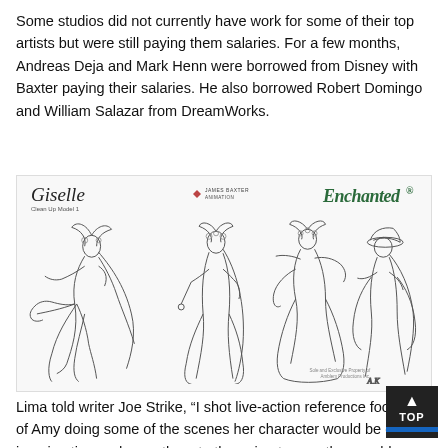Some studios did not currently have work for some of their top artists but were still paying them salaries. For a few months, Andreas Deja and Mark Henn were borrowed from Disney with Baxter paying their salaries. He also borrowed Robert Domingo and William Salazar from DreamWorks.
[Figure (illustration): Character design sketch sheet for Giselle from the movie Enchanted, showing four poses of the princess character in line art style. Header includes 'Giselle' label on left, James Baxter Animation logo in center, and 'Enchanted' logo on right. Sole and Exclusive Property of Amblem Productions Inc. noted at bottom right.]
Lima told writer Joe Strike, “I shot live-action reference footage of Amy doing some of the scenes her character would be doing in animation and gave them to the animators so they could understand how Amy was going to...